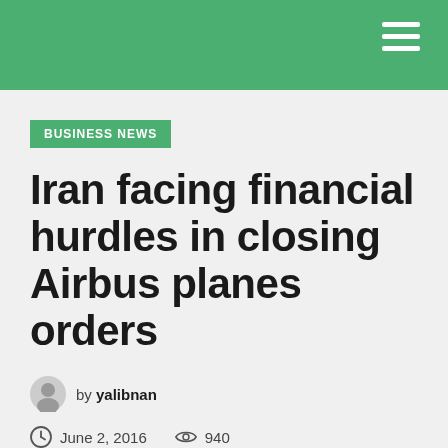BUSINESS NEWS
Iran facing financial hurdles in closing Airbus planes orders
by yalibnan
June 2, 2016   940